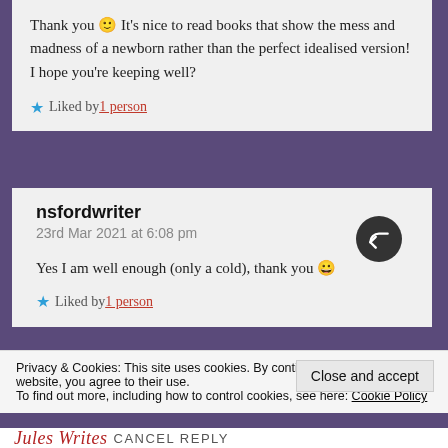Thank you 🙂 It's nice to read books that show the mess and madness of a newborn rather than the perfect idealised version! I hope you're keeping well?
★ Liked by 1 person
nsfordwriter
23rd Mar 2021 at 6:08 pm
Yes I am well enough (only a cold), thank you 😀
★ Liked by 1 person
Privacy & Cookies: This site uses cookies. By continuing to use this website, you agree to their use.
To find out more, including how to control cookies, see here: Cookie Policy
Close and accept
Jules Writes CANCEL REPLY